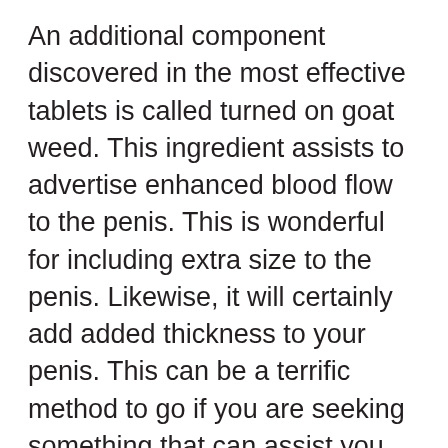An additional component discovered in the most effective tablets is called turned on goat weed. This ingredient assists to advertise enhanced blood flow to the penis. This is wonderful for including extra size to the penis. Likewise, it will certainly add added thickness to your penis. This can be a terrific method to go if you are seeking something that can assist you with both your sex life and your size.
Penis pumps are additionally readily available over the counter. These pills can raise the blood circulation to the penis as well as make it a lot more with the ability of pumping blood out at a higher price. The pump functions by boosting the vacuum pressure that is positioned on the penis. This